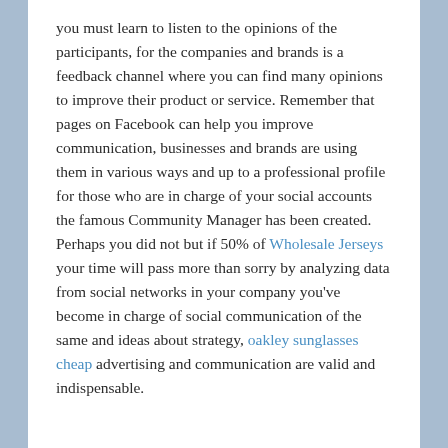you must learn to listen to the opinions of the participants, for the companies and brands is a feedback channel where you can find many opinions to improve their product or service. Remember that pages on Facebook can help you improve communication, businesses and brands are using them in various ways and up to a professional profile for those who are in charge of your social accounts the famous Community Manager has been created. Perhaps you did not but if 50% of Wholesale Jerseys your time will pass more than sorry by analyzing data from social networks in your company you've become in charge of social communication of the same and ideas about strategy, oakley sunglasses cheap advertising and communication are valid and indispensable.